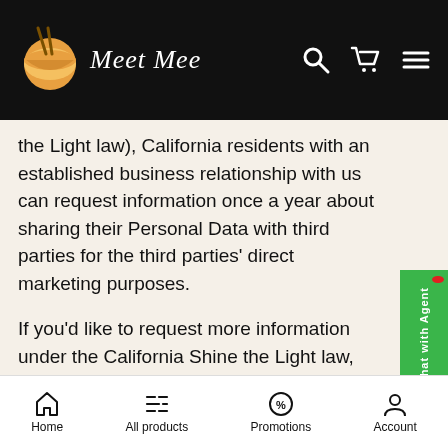Meet Mee
the Light law), California residents with an established business relationship with us can request information once a year about sharing their Personal Data with third parties for the third parties' direct marketing purposes.
If you'd like to request more information under the California Shine the Light law, and if you are a California resident, You can contact Us using the contact information provided below.
California Privacy Rights for Minor Users (California
Home   All products   Promotions   Account